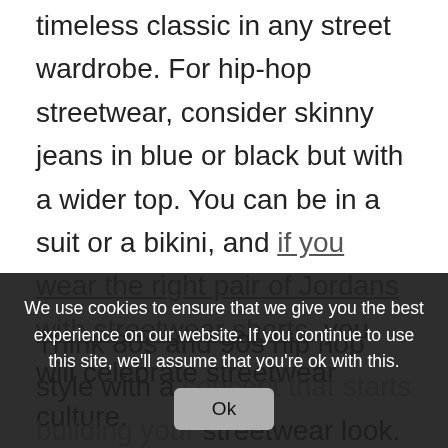timeless classic in any street wardrobe. For hip-hop streetwear, consider skinny jeans in blue or black but with a wider top. You can be in a suit or a bikini, and if you wear the right pair of Jordans with streetwear shorts, you will celebrate streetwear culture.
Think 80s and 90s hip hop style with a concept that starts building your streetwear look. Streetwear is all about mix and match, products from different
We use cookies to ensure that we give you the best experience on our website. If you continue to use this site, we'll assume that you're ok with this.